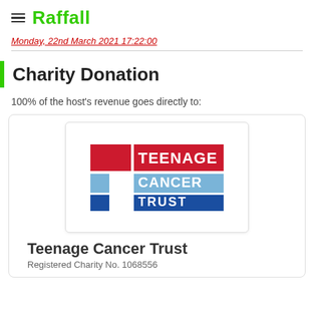≡ Raffall
Monday, 22nd March 2021 17:22:00
Charity Donation
100% of the host's revenue goes directly to:
[Figure (logo): Teenage Cancer Trust logo with red, light blue, and dark blue squares forming a T shape, with text TEENAGE CANCER TRUST]
Teenage Cancer Trust
Registered Charity No. 1068556